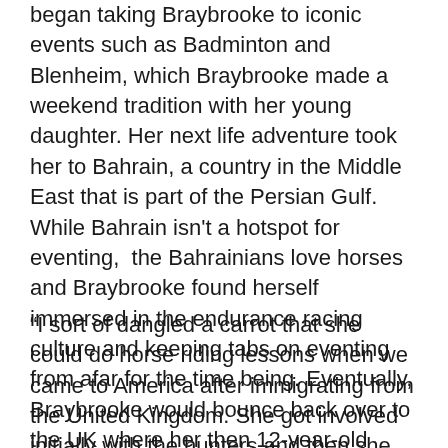began taking Braybrooke to iconic events such as Badminton and Blenheim, which Braybrooke made a weekend tradition with her young daughter. Her next life adventure took her to Bahrain, a country in the Middle East that is part of the Persian Gulf. While Bahrain isn't a hotspot for eventing, the Bahrainians love horses and Braybrooke found herself immersed in the endurance racing culture and keeping tabs on eventing from afar for the time being. Eventually, Braybrooke would bounce back over to the UK where her then 12-year-old daughter Stephanie made a friend with a pony which sparked a whole new level of involvement for the Braybrooke family.
“I sort of dangled a carrot that she could do horse riding lessons when we came to America after immigrating from the United Kingdom. She got involved initially with the hunters and then she got an eventing horse. She started competing at